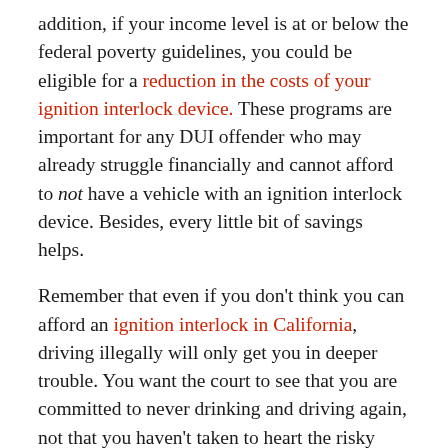addition, if your income level is at or below the federal poverty guidelines, you could be eligible for a reduction in the costs of your ignition interlock device. These programs are important for any DUI offender who may already struggle financially and cannot afford to not have a vehicle with an ignition interlock device. Besides, every little bit of savings helps.
Remember that even if you don't think you can afford an ignition interlock in California, driving illegally will only get you in deeper trouble. You want the court to see that you are committed to never drinking and driving again, not that you haven't taken to heart the risky behavior that led to your DUI. Financial assistance can be your best partner in recovering from your DUI and the “$10,000 Ride” that comes with it, and once you’re back in the driver’s seat of your own life, you’ll